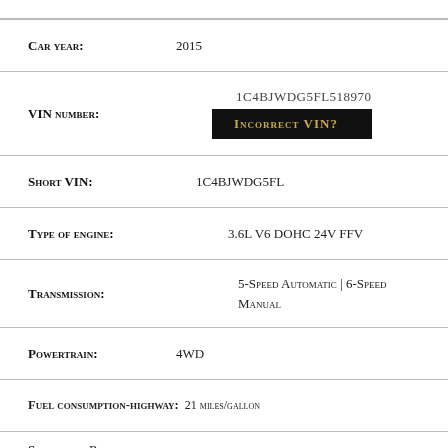Car year: 2015
VIN number: 1C4BJWDG5FL518970 INCORRECT VIN?
Short VIN: 1C4BJWDG5FL
Type of engine: 3.6L V6 DOHC 24V FFV
Transmission: 5-Speed Automatic | 6-Speed Manual
Powertrain: 4WD
Fuel consumption-highway: 21 miles/gallon
Steering: R